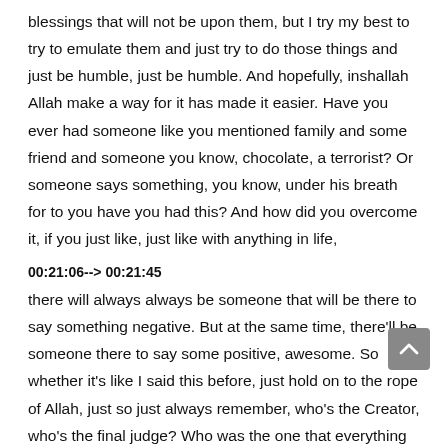blessings that will not be upon them, but I try my best to try to emulate them and just try to do those things and just be humble, just be humble. And hopefully, inshallah Allah make a way for it has made it easier. Have you ever had someone like you mentioned family and some friend and someone you know, chocolate, a terrorist? Or someone says something, you know, under his breath for to you have you had this? And how did you overcome it, if you just like, just like with anything in life,
00:21:06--> 00:21:45
there will always always be someone that will be there to say something negative. But at the same time, there'll be someone there to say some positive, awesome. So whether it's like I said this before, just hold on to the rope of Allah, just so just always remember, who's the Creator, who's the final judge? Who was the one that everything